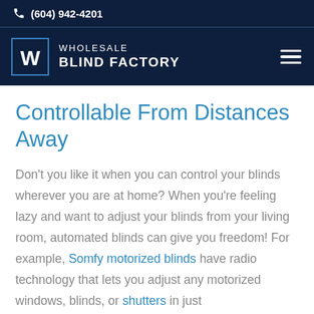(604) 942-4201
[Figure (logo): Wholesale Blind Factory logo with W lettermark in a square box and hamburger menu icon]
Controllable From Distances Away
Don't you like it when you can control your blinds wherever you are at home? When you're feeling lazy and want to adjust your blinds from your living room, automated blinds can give you freedom! For example, Somfy motorized blinds have radio technology that lets you adjust any motorized windows, blinds, or shutters in just